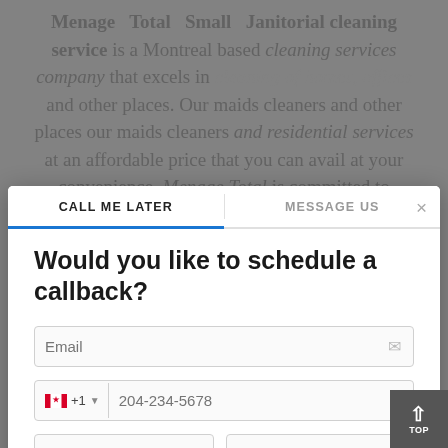Menage Total Small Janitorial cleaning service is a Montreal based cleaning services company that excels in cleaning of homes, offices and other places. Our maids cleaners and other places our maids cleaners and residential services at an affordable price that you can avail at your convenience. Menage Total is committed to making sure that you have a healthy and clean Montreal and Menage Total small Janitorial cleaning service takes all one of those who have a point.
[Figure (screenshot): A modal dialog overlay on a website. The modal has two tabs at the top: 'CALL ME LATER' (active, with blue underline) and 'MESSAGE US'. There is a close X button. The modal body contains: a bold title 'Would you like to schedule a callback?', an email input field with a mail icon, a phone number field with Canadian flag, +1 country code and placeholder '204-234-5678', a date dropdown showing 'Mon, Aug 22', a time dropdown showing '13:00', and a blue 'CALL ME LATER' button. A scroll-to-top button is visible in the bottom right corner.]